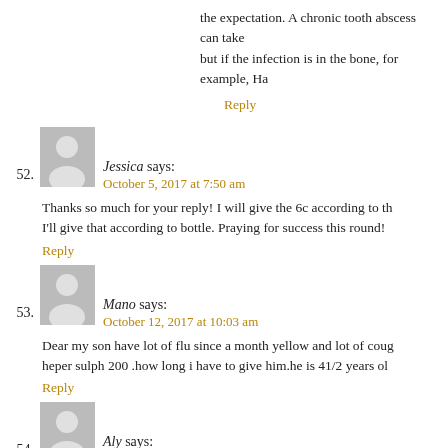the expectation. A chronic tooth abscess can take but if the infection is in the bone, for example, H
Reply
52. Jessica says:
October 5, 2017 at 7:50 am
Thanks so much for your reply! I will give the 6c according to th I'll give that according to bottle. Praying for success this round!
Reply
53. Mano says:
October 12, 2017 at 10:03 am
Dear my son have lot of flu since a month yellow and lot of coug heper sulph 200 .how long i have to give him.he is 41/2 years ol
Reply
54. Aly says:
October 15, 2017 at 3:11 am